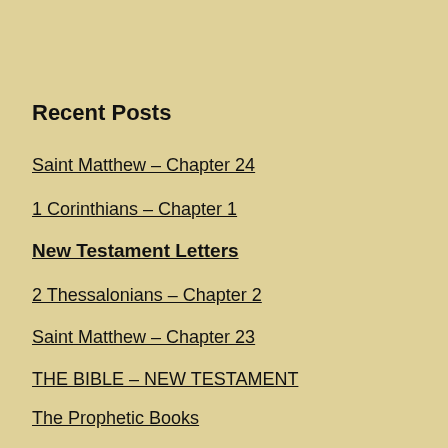Recent Posts
Saint Matthew – Chapter 24
1 Corinthians – Chapter 1
New Testament Letters
2 Thessalonians – Chapter 2
Saint Matthew – Chapter 23
THE BIBLE – NEW TESTAMENT
The Prophetic Books
The Wisdom Books
The Historical Books